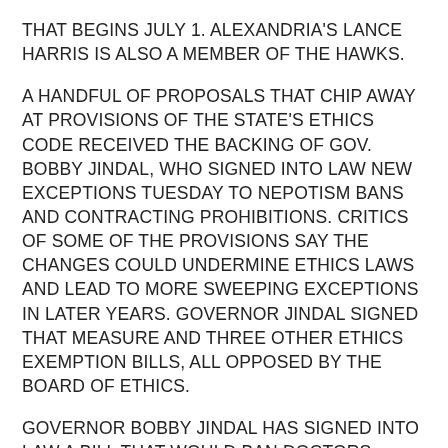THAT BEGINS JULY 1. ALEXANDRIA'S LANCE HARRIS IS ALSO A MEMBER OF THE HAWKS.
A HANDFUL OF PROPOSALS THAT CHIP AWAY AT PROVISIONS OF THE STATE'S ETHICS CODE RECEIVED THE BACKING OF GOV. BOBBY JINDAL, WHO SIGNED INTO LAW NEW EXCEPTIONS TUESDAY TO NEPOTISM BANS AND CONTRACTING PROHIBITIONS. CRITICS OF SOME OF THE PROVISIONS SAY THE CHANGES COULD UNDERMINE ETHICS LAWS AND LEAD TO MORE SWEEPING EXCEPTIONS IN LATER YEARS. GOVERNOR JINDAL SIGNED THAT MEASURE AND THREE OTHER ETHICS EXEMPTION BILLS, ALL OPPOSED BY THE BOARD OF ETHICS.
GOVERNOR BOBBY JINDAL HAS SIGNED INTO LAW A BILL THAT WOULD BAN DOCTORS FROM PERFORMING ABORTIONS 20 WEEKS AFTER CONCEPTION. THE BILL GOES INTO EFFECT AUGUST 1ST AND CARRIES FINES AND IMPRISONMENT FOR